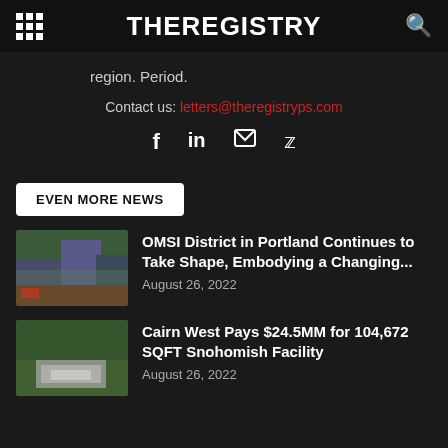THEREGISTRY
region. Period.
Contact us: letters@theregistryps.com
[Figure (infographic): Social media icons: Facebook, LinkedIn, Email, Twitter]
EVEN MORE NEWS
[Figure (photo): Architectural rendering of the OMSI District in Portland showing modern buildings]
OMSI District in Portland Continues to Take Shape, Embodying a Changing...
August 26, 2022
[Figure (photo): Aerial photograph of a facility in Snohomish area]
Cairn West Pays $24.5MM for 104,672 SQFT Snohomish Facility
August 26, 2022